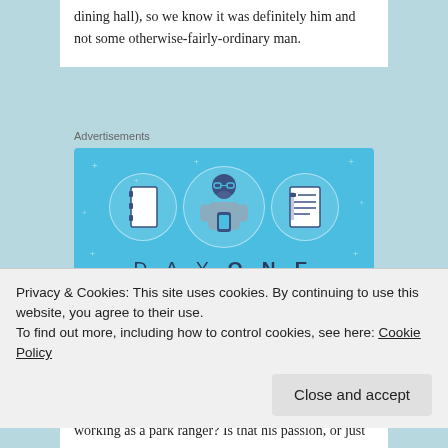dining hall), so we know it was definitely him and not some otherwise-fairly-ordinary man.
Advertisements
[Figure (illustration): Day One journaling app advertisement. Blue background with star dots. Three circular icons showing notebook, person using phone, and notepad. Text reads 'DAY ONE - The only journaling app you'll ever need.' with a 'Get the app' dark blue button.]
Privacy & Cookies: This site uses cookies. By continuing to use this website, you agree to their use.
To find out more, including how to control cookies, see here: Cookie Policy
working as a park ranger? Is that his passion, or just